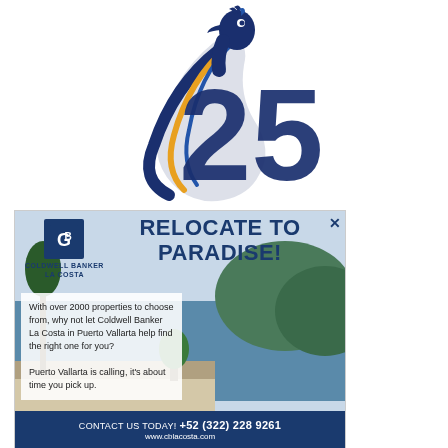[Figure (logo): Coldwell Banker La Costa 25th anniversary logo with parrot and large '25' in dark navy blue]
[Figure (illustration): Advertisement for Coldwell Banker La Costa real estate. Features the CB logo, headline 'RELOCATE TO PARADISE!', body text about properties in Puerto Vallarta, a background photo of a coastal terrace, and footer with phone number +52 (322) 228 9261 and website www.cblacosta.com]